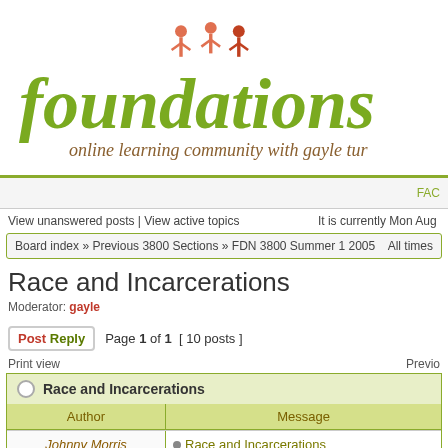[Figure (logo): Foundations online learning community with gayle tur... logo with children figures and decorative text]
FAC
View unanswered posts | View active topics    It is currently Mon Aug ...
Board index » Previous 3800 Sections » FDN 3800 Summer 1 2005    All times...
Race and Incarcerations
Moderator: gayle
Post Reply   Page 1 of 1  [ 10 posts ]
Print view    Previo
| Author | Message |
| --- | --- |
| Johnny Morris
All-star | Race and Incarcerations
I always believed that if I did something wrong (and got... would be sent to jail. I never felt that if I was white then... easier than if I were black or hispanic. Alot of people be... was guilty but he got off and I bet Michael Jackson will... guilty (not that I think he is guilty). Also, look at anyone... and alot of times they get out of going to jail or a hard la... |